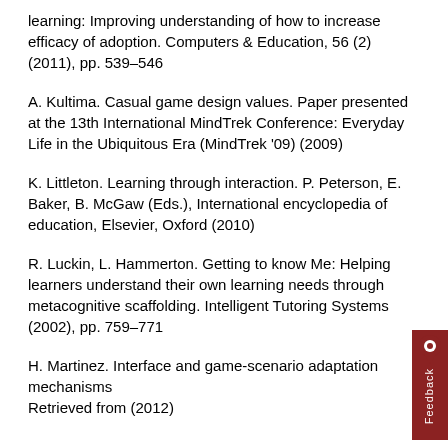learning: Improving understanding of how to increase efficacy of adoption. Computers & Education, 56 (2) (2011), pp. 539–546
A. Kultima. Casual game design values. Paper presented at the 13th International MindTrek Conference: Everyday Life in the Ubiquitous Era (MindTrek '09) (2009)
K. Littleton. Learning through interaction. P. Peterson, E. Baker, B. McGaw (Eds.), International encyclopedia of education, Elsevier, Oxford (2010)
R. Luckin, L. Hammerton. Getting to know Me: Helping learners understand their own learning needs through metacognitive scaffolding. Intelligent Tutoring Systems (2002), pp. 759–771
H. Martinez. Interface and game-scenario adaptation mechanisms
Retrieved from (2012)